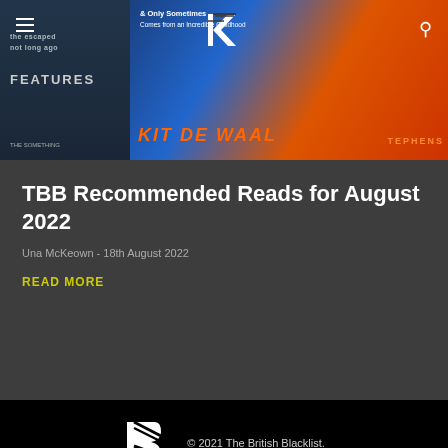The British Blacklist website header with hamburger menu, logo, and search icon
[Figure (photo): Hero image showing book covers including Kit de Waal and a features section with dark blue overlay and orange text]
TBB Recommended Reads for August 2022
Una McKeown  -  18th August 2022
READ MORE
[Figure (logo): The British Blacklist logo — stylized KB lettermark in black and white diagonal stripes]
© 2021 The British Blacklist.
About    Contact
[Figure (other): Social media icons: Facebook, Instagram, Twitter, YouTube]